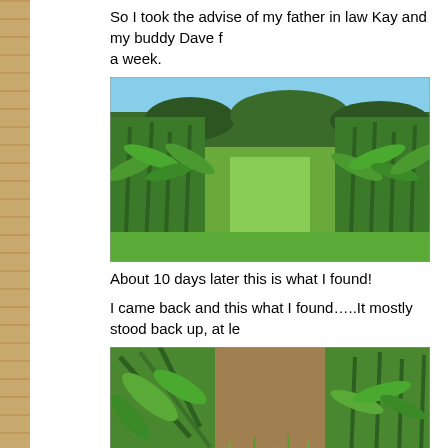So I took the advise of my father in law Kay and my buddy Dave f... a week.
[Figure (photo): Photograph of a corn field with tall green corn plants on both sides, a grassy path between rows, and trees in the background under a blue sky.]
About 10 days later this is what I found!
I came back and this what I found…..It mostly stood back up, at le
[Figure (photo): Photograph showing corn plants that have partially stood back up after being knocked down, with a dirt path visible between rows and weedy plants on the ground.]